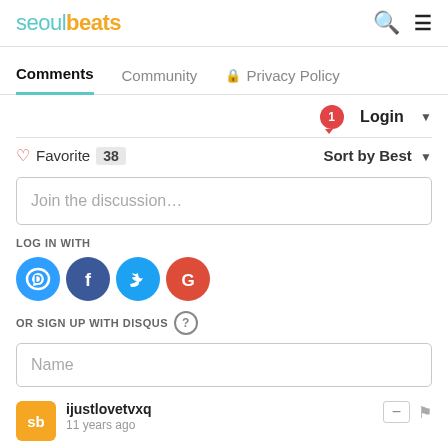seoulbeats
Comments | Community | Privacy Policy
Login ▾
♡ Favorite  38   Sort by Best ▾
Join the discussion...
LOG IN WITH
[Figure (logo): Social login icons: Disqus (D), Facebook (f), Twitter bird, Google (G)]
OR SIGN UP WITH DISQUS  ?
Name
ijustlovetvxq
11 years ago